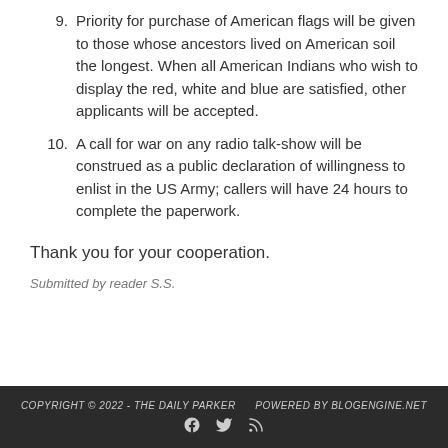9. Priority for purchase of American flags will be given to those whose ancestors lived on American soil the longest. When all American Indians who wish to display the red, white and blue are satisfied, other applicants will be accepted.
10. A call for war on any radio talk-show will be construed as a public declaration of willingness to enlist in the US Army; callers will have 24 hours to complete the paperwork.
Thank you for your cooperation.
Submitted by reader S.S.
COPYRIGHT © 2022 - THE DAILY PARKER    POWERED BY BLOGENGINE.NET